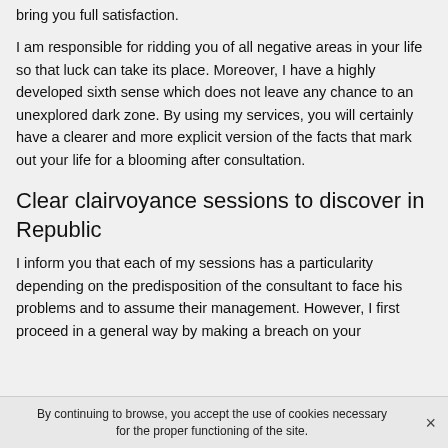bring you full satisfaction.
I am responsible for ridding you of all negative areas in your life so that luck can take its place. Moreover, I have a highly developed sixth sense which does not leave any chance to an unexplored dark zone. By using my services, you will certainly have a clearer and more explicit version of the facts that mark out your life for a blooming after consultation.
Clear clairvoyance sessions to discover in Republic
I inform you that each of my sessions has a particularity depending on the predisposition of the consultant to face his problems and to assume their management. However, I first proceed in a general way by making a breach on your
By continuing to browse, you accept the use of cookies necessary for the proper functioning of the site.